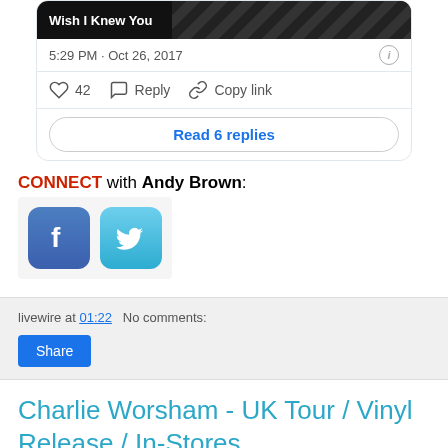[Figure (screenshot): Tweet card showing 'Wish I Knew You', timestamp 5:29 PM · Oct 26, 2017, with 42 likes, Reply, Copy link actions, and Read 6 replies button]
CONNECT with Andy Brown:
[Figure (illustration): Facebook and Twitter social media icon buttons]
livewire at 01:22   No comments:
Share
Charlie Worsham - UK Tour / Vinyl Release / In-Stores